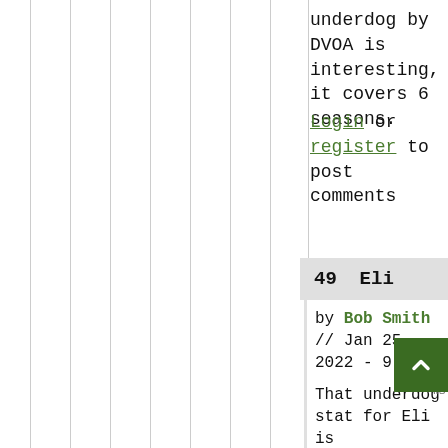underdog by DVOA is interesting, it covers 6 seasons.
Login or register to post comments
49  Eli
by Bob Smith // Jan 25, 2022 - 9:41am
That underdog stat for Eli is understandable. He has 5 road wins in the playoffs including 2 road wins in 2 Conference Championship Games. That is very impressive.
Those 5 road wins are right up there with Brady and Flacco